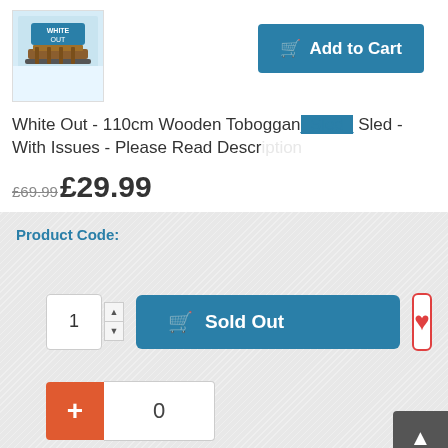[Figure (photo): Product thumbnail of White Out wooden toboggan sled, showing sled on snowy background with 'White Out' branding]
[Figure (screenshot): Add to Cart button in teal/blue color with shopping cart icon]
White Out - 110cm Wooden Toboggan Sled - With Issues - Please Read Descr...
£69.99 £29.99
Product Code:
1 (quantity box)
Sold Out
0